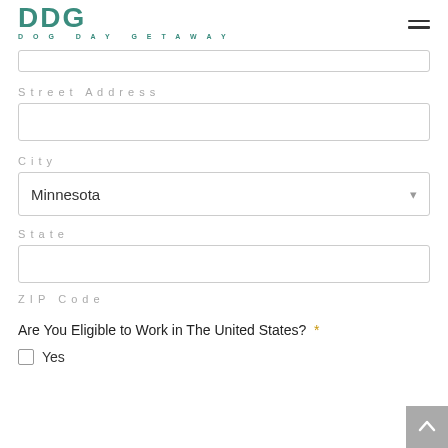DDG DOG DAY GETAWAY
Street Address
City
Minnesota (dropdown)
State
ZIP Code
Are You Eligible to Work in The United States? *
Yes